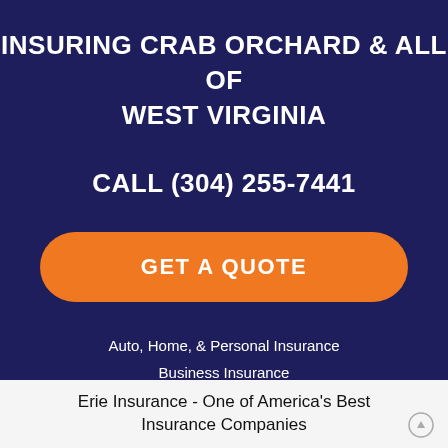INSURING CRAB ORCHARD & ALL OF WEST VIRGINIA
CALL (304) 255-7441
GET A QUOTE
Auto, Home, & Personal Insurance
Business Insurance
Life & Health Insurance
Erie Insurance - One of America's Best Insurance Companies